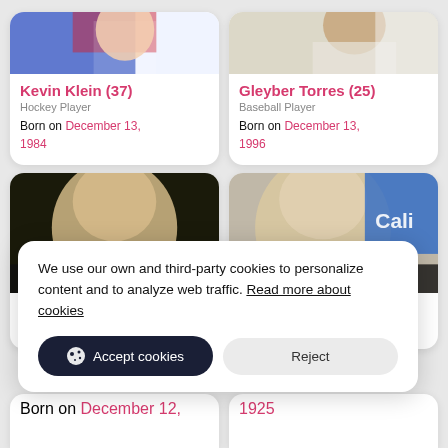[Figure (photo): Photo of Kevin Klein in hockey jersey]
Kevin Klein (37)
Hockey Player
Born on December 13, 1984
[Figure (photo): Photo of Gleyber Torres with microphone]
Gleyber Torres (25)
Baseball Player
Born on December 13, 1996
[Figure (photo): Photo of a man with grey-blond hair at an event]
[Figure (photo): Photo of an older man smiling at Cali event]
We use our own and third-party cookies to personalize content and to analyze web traffic. Read more about cookies
Accept cookies
Reject
Born on December 12,
1925